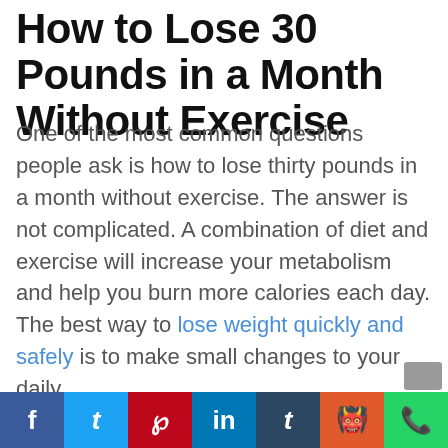How to Lose 30 Pounds in a Month Without Exercise
One of the most common questions people ask is how to lose thirty pounds in a month without exercise. The answer is not complicated. A combination of diet and exercise will increase your metabolism and help you burn more calories each day. The best way to lose weight quickly and safely is to make small changes to your daily
We use cookies to ensure that we give you the best experience on our website. If you continue to use this site we will assume that you are happy with it.
f  t  p  in  t  reddit  whatsapp